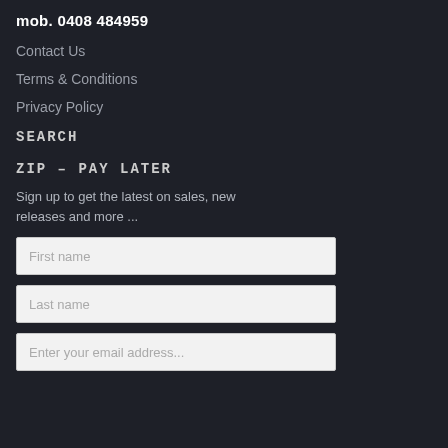mob. 0408 484959
Contact Us
Terms & Conditions
Privacy Policy
SEARCH
ZIP – PAY LATER
Sign up to get the latest on sales, new releases and more ...
First name
Last name
Enter your email address...